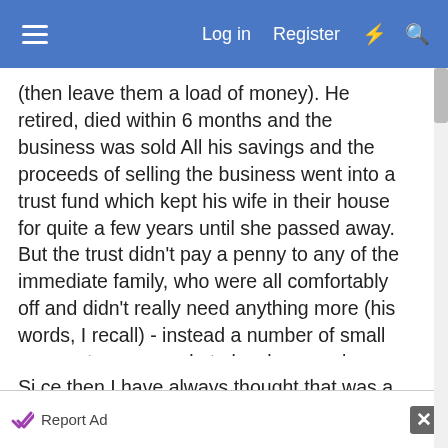Log in  Register
(then leave them a load of money). He retired, died within 6 months and the business was sold All his savings and the proceeds of selling the business went into a trust fund which kept his wife in their house for quite a few years until she passed away. But the trust didn't pay a penny to any of the immediate family, who were all comfortably off and didn't really need anything more (his words, I recall) - instead a number of small payments were made to loyal ex-employees, as a token of appreciation, and the balance went to charity. I was at that meeting in a solicito's office and the family were speechless.
Si ce then I have always thought that was a most
Report Ad